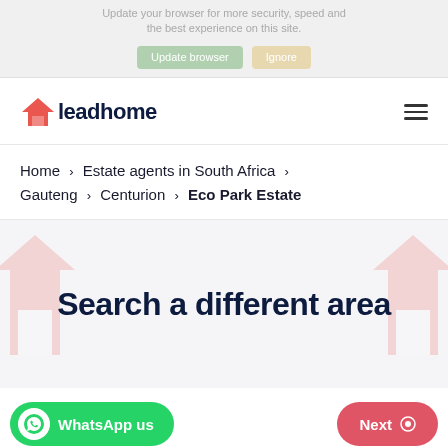Update your browser for more security, speed and the best experience on this site.
Update browser  Ignore
[Figure (logo): Leadhome logo with red house icon and dark blue text 'leadhome']
Home > Estate agents in South Africa > Gauteng > Centurion > Eco Park Estate
Search a different area
WhatsApp us
Next